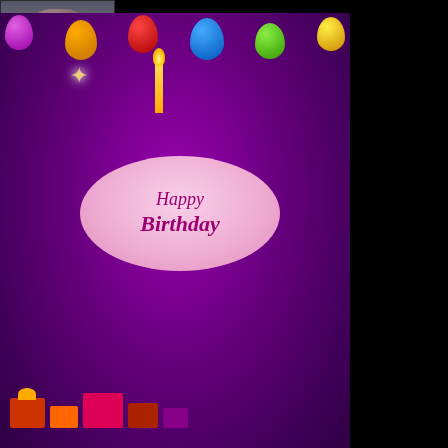[Figure (screenshot): User avatar thumbnail - person photo with dark background bar below]
[Figure (photo): Happy Birthday greeting card showing colorful balloons, birthday cake with 'Happy Birthday' text, gifts, copyright 123Greetings.com]
Make it a great one! Love a
2 years ago · Reply
[Figure (screenshot): User avatar - photo of pink jeep with person, dark background]
808 Tony ⇒ angel feather
happy Aloha holidays from